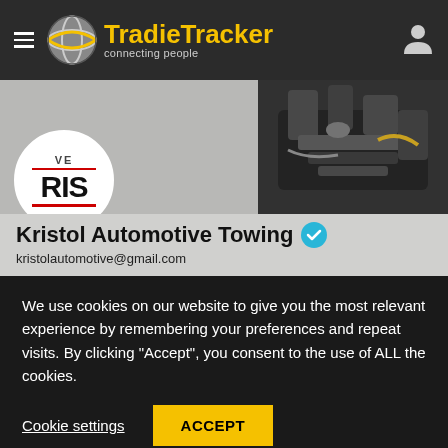TradieTracker connecting people
[Figure (screenshot): Hands working on a car engine, dark tones]
[Figure (logo): Kristol Automotive circular logo with RIS text and red lines]
Kristol Automotive Towing
kristolautomotive@gmail.com
We use cookies on our website to give you the most relevant experience by remembering your preferences and repeat visits. By clicking "Accept", you consent to the use of ALL the cookies.
Cookie settings
ACCEPT